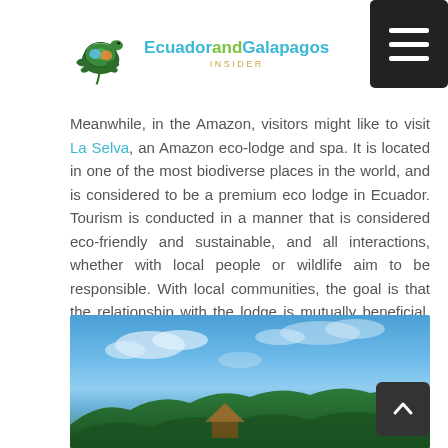EcuadorandGalapagos Insider logo and navigation menu
Meanwhile, in the Amazon, visitors might like to visit La Selva, an Amazon eco-lodge and spa. It is located in one of the most biodiverse places in the world, and is considered to be a premium eco lodge in Ecuador. Tourism is conducted in a manner that is considered eco-friendly and sustainable, and all interactions, whether with local people or wildlife aim to be responsible. With local communities, the goal is that the relationship with the lodge is mutually beneficial. Aside from anything else, this is a lovely place to stay, set as it is on Lake Garzacocha. Here you can enjoy birdwatching, or watching the local wildlife going about its business as you relax with a cold drink.
[Figure (photo): Outdoor photo showing a blue sky with clouds, trees, and what appears to be a thatched-roof structure at La Selva Amazon eco-lodge on Lake Garzacocha, Ecuador]